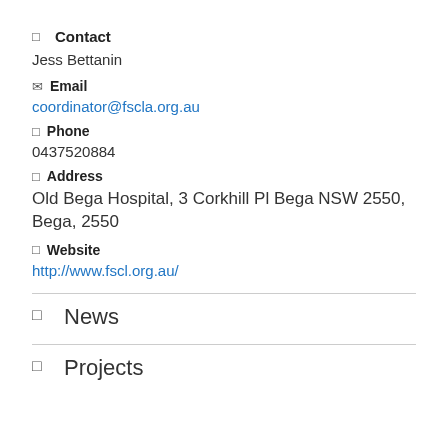Contact
Jess Bettanin
Email
coordinator@fscla.org.au
Phone
0437520884
Address
Old Bega Hospital, 3 Corkhill Pl Bega NSW 2550, Bega, 2550
Website
http://www.fscl.org.au/
News
Projects